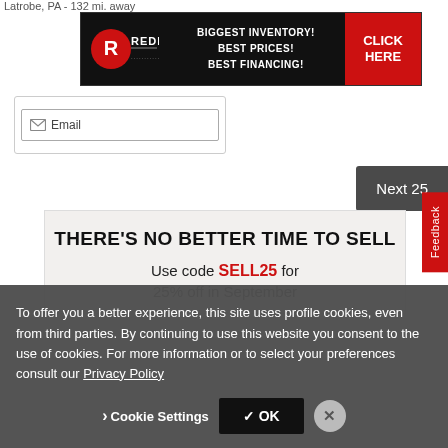Latrobe, PA - 132 mi. away
[Figure (infographic): Redline dealer banner ad: black background with Redline logo (R with swoosh), text BIGGEST INVENTORY! BEST PRICES! BEST FINANCING! in white bold, red CLICK HERE button on right]
Email
Next 25
Feedback
[Figure (infographic): Promotional banner: THERE'S NO BETTER TIME TO SELL in large bold black text, Use code SELL25 for 25% off in September below in smaller text with SELL25 in red]
To offer you a better experience, this site uses profile cookies, even from third parties. By continuing to use this website you consent to the use of cookies. For more information or to select your preferences consult our Privacy Policy
Cookie Settings
✓ OK
✕